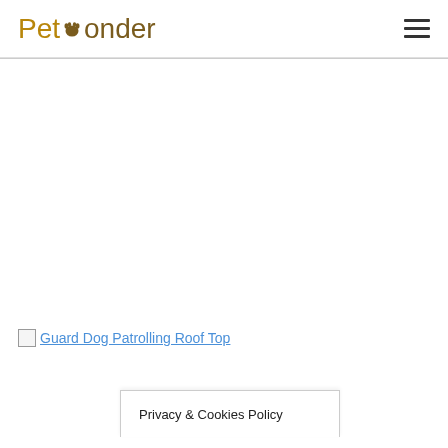PetPonder
[Figure (other): Broken image link labeled 'Guard Dog Patrolling Roof Top']
Privacy & Cookies Policy